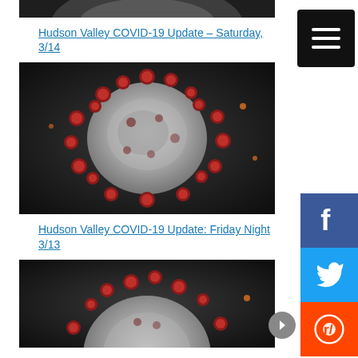[Figure (photo): Partial coronavirus molecule image at top, dark background]
Hudson Valley COVID-19 Update – Saturday, 3/14
[Figure (photo): Coronavirus molecule 3D render on dark background, red spike proteins]
Hudson Valley COVID-19 Update: Friday Night 3/13
[Figure (photo): Coronavirus molecule 3D render on dark background, partially visible at bottom]